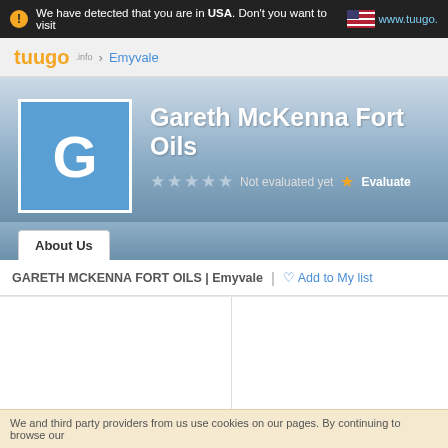We have detected that you are in USA. Don't you want to visit www.tuugo.
tuugo.info › Emyvale
Gareth McKenna Fort Oils
Not evaluated yet  Evaluate
About Us
GARETH MCKENNA FORT OILS | Emyvale  |  ♡ Add to My list
Gareth McKenna Fort Oi
See phone
We and third party providers from us use cookies on our pages. By continuing to browse our